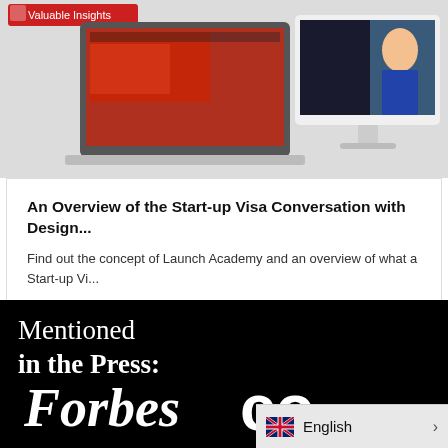[Figure (photo): Laptop and desktop monitor mockup showing red-themed websites, partially visible, on a light grey background. A small red badge with 'Valuable Insights' is visible at top left.]
An Overview of the Start-up Visa Conversation with Design...
Find out the concept of Launch Academy and an overview of what a Start-up Vi...
Read More
Mentioned in the Press:
[Figure (logo): Forbes logo in white italic serif font on black background]
[Figure (logo): Co- text logo partially visible in white bold font on black background]
English